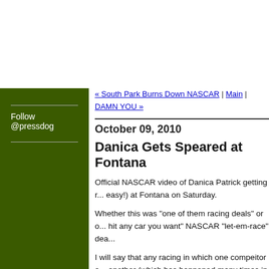Follow @pressdog
« South Park Burns Down NASCAR | Main | DAMN YOU »
October 09, 2010
Danica Gets Speared at Fontana
Official NASCAR video of Danica Patrick getting r... easy!) at Fontana on Saturday.
Whether this was "one of them racing deals" or o... hit any car you want" NASCAR "let-em-race" dea...
I will say that any racing in which one compeitor a... another (which has happened many times in NAS... bullshit.